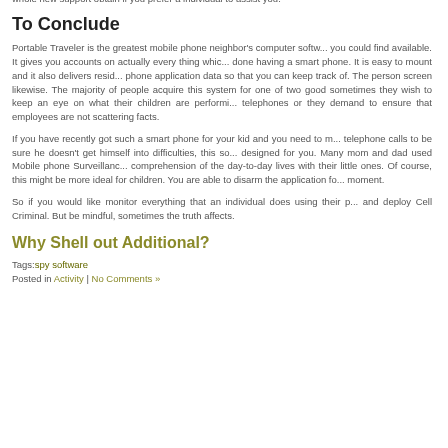whole new support obtain if you prefer a individual to assist you.
To Conclude
Portable Traveler is the greatest mobile phone neighbor's computer software you could find available. It gives you accounts on actually every thing which done having a smart phone. It is easy to mount and it also delivers resident phone application data so that you can keep track of. The person screen likewise. The majority of people acquire this system for one of two good sometimes they wish to keep an eye on what their children are performing telephones or they demand to ensure that employees are not scattering facts.
If you have recently got such a smart phone for your kid and you need to monitor telephone calls to be sure he doesn't get himself into difficulties, this software designed for you. Many mom and dad used Mobile phone Surveillance comprehension of the day-to-day lives with their little ones. Of course, this might be more ideal for children. You are able to disarm the application for moment.
So if you would like monitor everything that an individual does using their phone, and deploy Cell Criminal. But be mindful, sometimes the truth affects.
Why Shell out Additional?
Tags:spy software
Posted in Activity | No Comments »